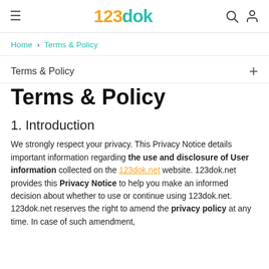123dok — Home > Terms & Policy
Home > Terms & Policy
Terms & Policy
Terms & Policy
1. Introduction
We strongly respect your privacy. This Privacy Notice details important information regarding the use and disclosure of User information collected on the 123dok.net website. 123dok.net provides this Privacy Notice to help you make an informed decision about whether to use or continue using 123dok.net. 123dok.net reserves the right to amend the privacy policy at any time. In case of such amendment,